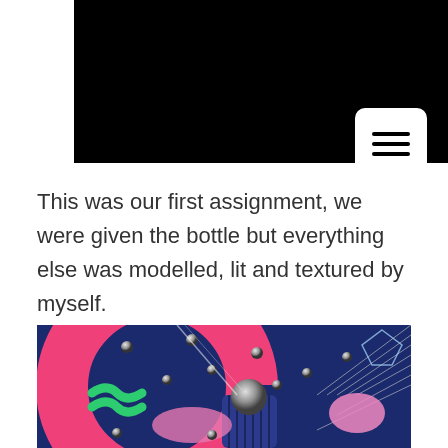[Figure (screenshot): Black rectangle with a white rounded square menu button (hamburger icon with three horizontal lines) in the bottom-right corner]
This was our first assignment, we were given the bottle but everything else was modelled, lit and textured by myself.
[Figure (photo): Close-up 3D render showing colorful objects including a pink torus/ring, blue and pink shapes with metallic droplets, a dark navy/blue ribbed cylinder, green wavy shapes, and reflective glass/crystal elements on a blue background]